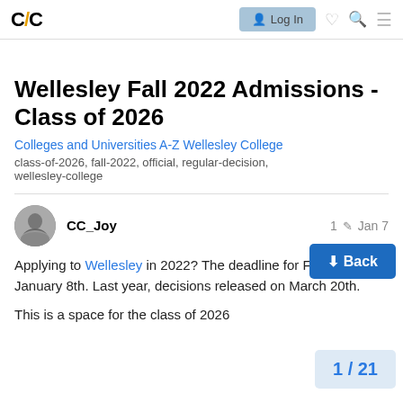C/C Log In
Wellesley Fall 2022 Admissions - Class of 2026
Colleges and Universities A-Z Wellesley College
class-of-2026, fall-2022, official, regular-decision, wellesley-college
CC_Joy  1  Jan 7
Applying to Wellesley in 2022? The deadline for Fall 2022 is January 8th. Last year, decisions released on March 20th.
This is a space for the class of 2026
↓ Back
1 / 21